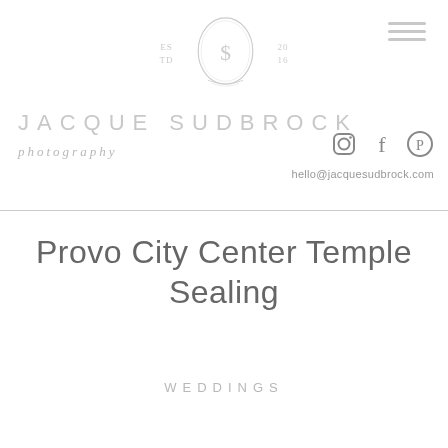JACQUE SUDBROCK photography | hello@jacquesudbrock.com
Provo City Center Temple Sealing
WEDDINGS